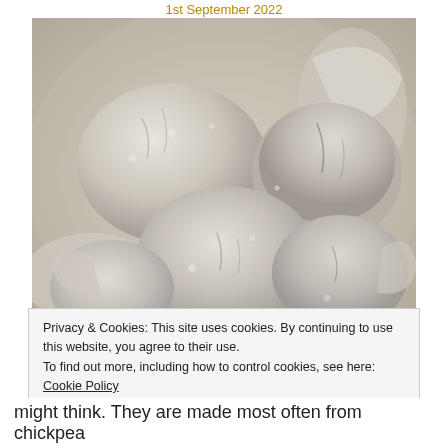1st September 2022
[Figure (photo): Close-up photo of meringues dusted with grey/white powdered sugar, stacked in a pile.]
Privacy & Cookies: This site uses cookies. By continuing to use this website, you agree to their use.
To find out more, including how to control cookies, see here: Cookie Policy
Close and accept
might think. They are made most often from chickpea